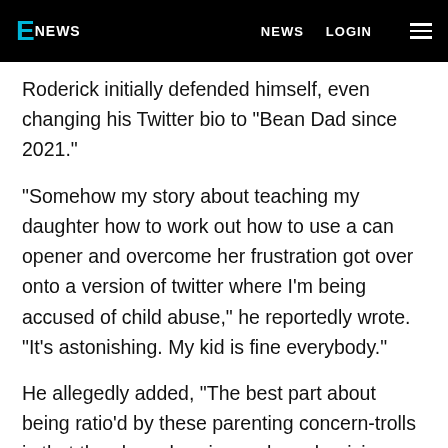E NEWS   NEWS   LOGIN
Roderick initially defended himself, even changing his Twitter bio to "Bean Dad since 2021."
"Somehow my story about teaching my daughter how to work out how to use a can opener and overcome her frustration got over onto a version of twitter where I'm being accused of child abuse," he reportedly wrote. "It's astonishing. My kid is fine everybody."
He allegedly added, "The best part about being ratio'd by these parenting concern-trolls is that they keep harping on how depriving my kid of baked beans for SIX HOURS is child abuse. Six hours is the